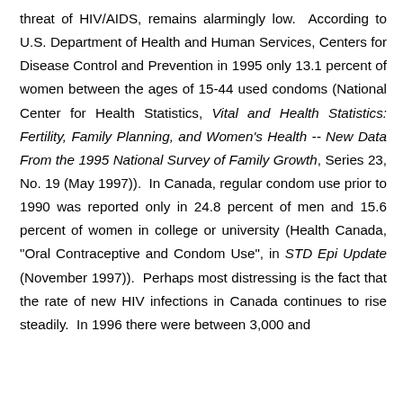threat of HIV/AIDS, remains alarmingly low. According to U.S. Department of Health and Human Services, Centers for Disease Control and Prevention in 1995 only 13.1 percent of women between the ages of 15-44 used condoms (National Center for Health Statistics, Vital and Health Statistics: Fertility, Family Planning, and Women's Health -- New Data From the 1995 National Survey of Family Growth, Series 23, No. 19 (May 1997)). In Canada, regular condom use prior to 1990 was reported only in 24.8 percent of men and 15.6 percent of women in college or university (Health Canada, "Oral Contraceptive and Condom Use", in STD Epi Update (November 1997)). Perhaps most distressing is the fact that the rate of new HIV infections in Canada continues to rise steadily. In 1996 there were between 3,000 and